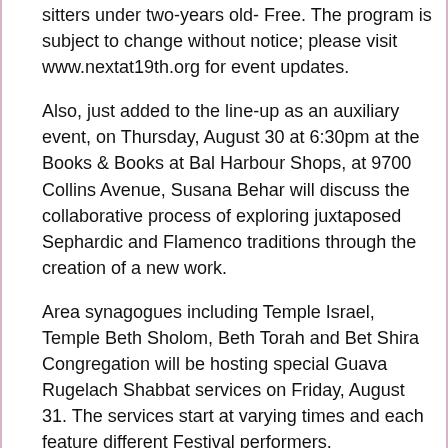sitters under two-years old- Free. The program is subject to change without notice; please visit www.nextat19th.org for event updates.
Also, just added to the line-up as an auxiliary event, on Thursday, August 30 at 6:30pm at the Books & Books at Bal Harbour Shops, at 9700 Collins Avenue, Susana Behar will discuss the collaborative process of exploring juxtaposed Sephardic and Flamenco traditions through the creation of a new work.
Area synagogues including Temple Israel, Temple Beth Sholom, Beth Torah and Bet Shira Congregation will be hosting special Guava Rugelach Shabbat services on Friday, August 31. The services start at varying times and each feature different Festival performers.
Programs of Next@19th are presented with the support and partnership of the Miami-Dade County Department of Cultural Affairs and the Cultural Affairs Council, the Miami-Dade County Mayor and Board of County Commissioners, The Greater Miami Jewish Federation, The CAJE-Miami Jewish